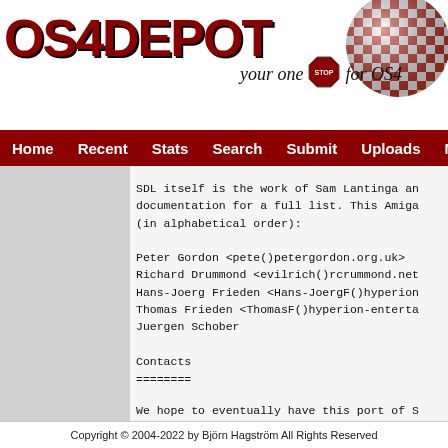OS4DEPOT — your one stop for OS4
Home | Recent | Stats | Search | Submit | Uploads | Mirrors | C…
SDL itself is the work of Sam Lantinga and
documentation for a full list. This Amiga
(in alphabetical order):

Peter Gordon <pete()petergordon.org.uk>
Richard Drummond <evilrich()rcrummond.net>
Hans-Joerg Frieden <Hans-JoergF()hyperion
Thomas Frieden <ThomasF()hyperion-enterta
Juergen Schober
Contacts
========
We hope to eventually have this port of Sl
that time send comments and patches to on
above. Don't bother the maintainers of th
the google code tracker.
Copyright © 2004-2022 by Björn Hagström All Rights Reserved